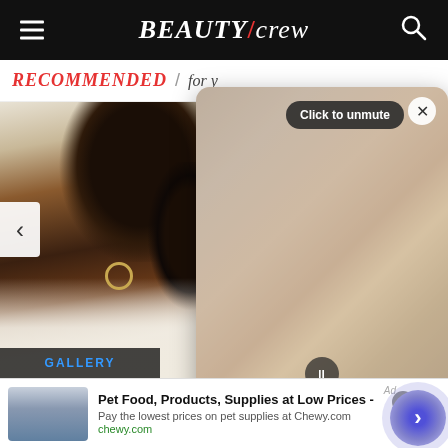BEAUTY/crew
RECOMMENDED / for you
[Figure (photo): A dark-skinned model wearing hoop earrings and a white off-shoulder top, with curly ponytail hair, posing against a light background. Partial second image visible on right showing a blue/dark background.]
[Figure (screenshot): Video overlay popup with blurred/frosted content, close X button, 'Click to unmute' button, and pause button at bottom.]
GALLERY
The 12 best moisturisers in
[Figure (other): Advertisement banner: Pet Food, Products, Supplies at Low Prices - Pay the lowest prices on pet supplies at Chewy.com. chewy.com]